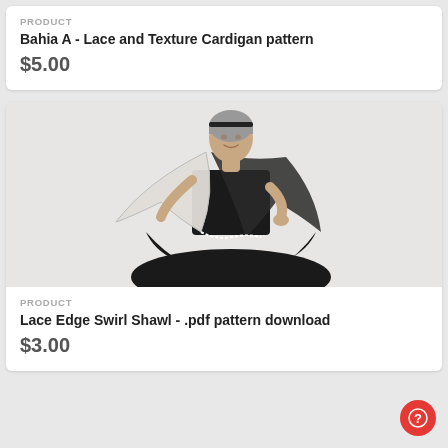PRODUCT
Bahia A - Lace and Texture Cardigan pattern
$5.00
[Figure (photo): Woman wearing a black and white swirl lace shawl over a black dress, spinning so the shawl fans out. She has short grey hair and a headband.]
PRODUCT
Lace Edge Swirl Shawl - .pdf pattern download
$3.00